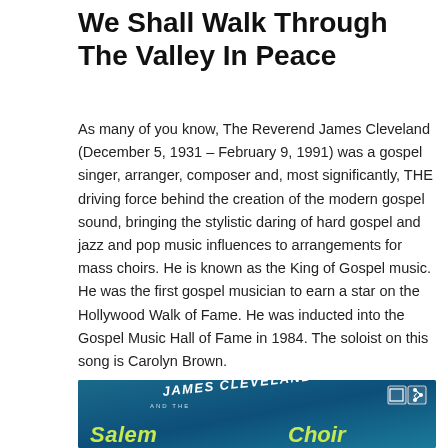We Shall Walk Through The Valley In Peace
As many of you know, The Reverend James Cleveland (December 5, 1931 – February 9, 1991) was a gospel singer, arranger, composer and, most significantly, THE driving force behind the creation of the modern gospel sound, bringing the stylistic daring of hard gospel and jazz and pop music influences to arrangements for mass choirs. He is known as the King of Gospel music. He was the first gospel musician to earn a star on the Hollywood Walk of Fame. He was inducted into the Gospel Music Hall of Fame in 1984. The soloist on this song is Carolyn Brown.
[Figure (photo): Album cover thumbnail showing 'James Cleveland and the Salem Choir' text on a teal/blue background with yellow-green stylized lettering. Two small icons (fullscreen and share) visible in upper right corner of the thumbnail. A stamp/label visible in upper left.]